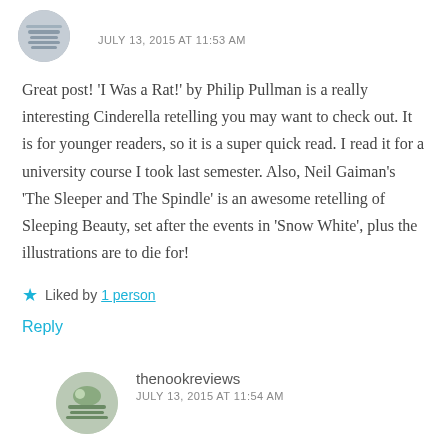JULY 13, 2015 AT 11:53 AM
Great post! ‘I Was a Rat!’ by Philip Pullman is a really interesting Cinderella retelling you may want to check out. It is for younger readers, so it is a super quick read. I read it for a university course I took last semester. Also, Neil Gaiman’s ‘The Sleeper and The Spindle’ is an awesome retelling of Sleeping Beauty, set after the events in ‘Snow White’, plus the illustrations are to die for!
Liked by 1 person
Reply
thenookreviews
JULY 13, 2015 AT 11:54 AM